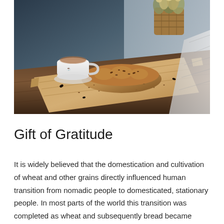[Figure (photo): A photograph of a wooden cutting board on a table, with a bread loaf/roll topped with seeds/nuts, crumbs scattered around, a white cup of tea or coffee, and a wicker basket with dried flowers in the background. Dim, moody lighting.]
Gift of Gratitude
It is widely believed that the domestication and cultivation of wheat and other grains directly influenced human transition from nomadic people to domesticated, stationary people. In most parts of the world this transition was completed as wheat and subsequently bread became significant dietary staples. However,